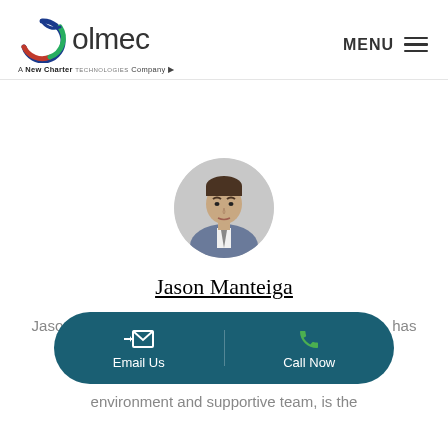[Figure (logo): Olmec logo with circular icon (green and red/blue swirl) and text 'olmec' with tagline 'A New Charter Technologies Company']
[Figure (photo): Headshot of Jason Manteiga, a man in a suit and tie, shown in a circular crop]
Jason Manteiga
Jason J. Manteiga, Vice President of Olmec Systems, has been part of the comm...s. He environment and supportive team, is the
[Figure (infographic): Dark teal rounded button bar with two options: 'Email Us' (envelope icon) and 'Call Now' (phone icon)]